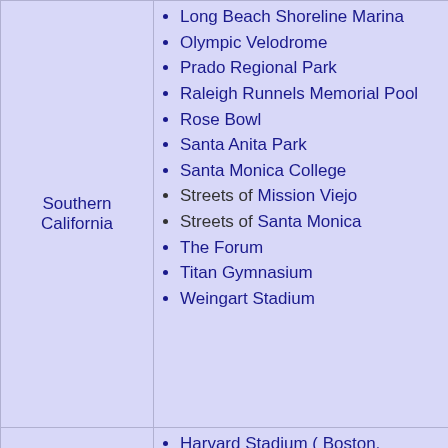| Region | Venues |
| --- | --- |
| Southern California | Long Beach Shoreline Marina
Olympic Velodrome
Prado Regional Park
Raleigh Runnels Memorial Pool
Rose Bowl
Santa Anita Park
Santa Monica College
Streets of Mission Viejo
Streets of Santa Monica
The Forum
Titan Gymnasium
Weingart Stadium |
| Other venues | Harvard Stadium ( Boston, Massachusetts)
Navy–Marine Corps Memorial Stadium ( |